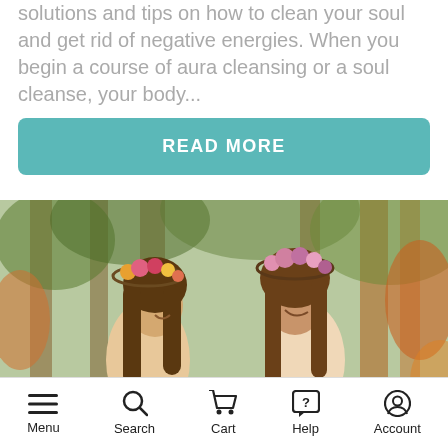solutions and tips on how to clean your soul and get rid of negative energies. When you begin a course of aura cleansing or a soul cleanse, your body...
[Figure (other): Teal rounded rectangle button with bold white uppercase text READ MORE]
[Figure (photo): Two young women wearing flower crowns and boho dresses smiling and laughing outdoors among trees]
Menu  Search  Cart  Help  Account